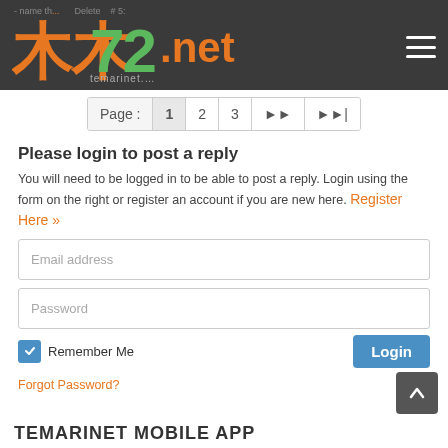- name the... Delete  # 5:
[Figure (logo): Temarinet logo with orange and green stylized text on dark background]
[Figure (other): Hamburger menu icon (three horizontal lines)]
Page : 1 2 3 ▶▶ ▶▶|
Please login to post a reply
You will need to be logged in to be able to post a reply. Login using the form on the right or register an account if you are new here. Register Here »
Email address
Password
Remember Me
Login
Forgot Password?
TEMARINET MOBILE APP